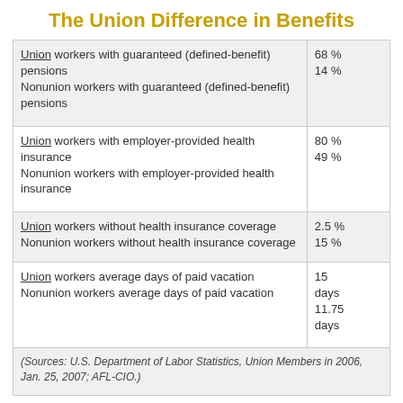The Union Difference in Benefits
| Description | Value |
| --- | --- |
| Union workers with guaranteed (defined-benefit) pensions
Nonunion workers with guaranteed (defined-benefit) pensions | 68 %
14 % |
| Union workers with employer-provided health insurance
Nonunion workers with employer-provided health insurance | 80 %
49 % |
| Union workers without health insurance coverage
Nonunion workers without health insurance coverage | 2.5 %
15 % |
| Union workers average days of paid vacation
Nonunion workers average days of paid vacation | 15 days
11.75 days |
| (Sources: U.S. Department of Labor Statistics, Union Members in 2006, Jan. 25, 2007; AFL-CIO.) |  |